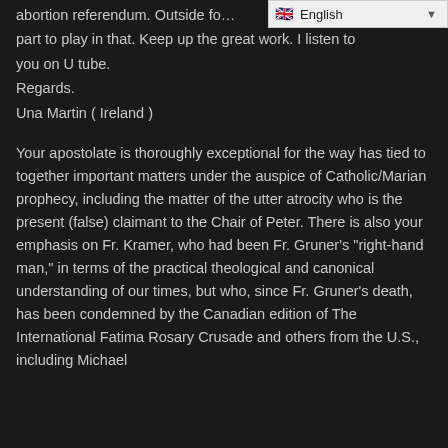abortion referendum. Outside fo... part to play in that. Keep up the great work. I listen to you on U tube.
Regards.
Una Martin ( Ireland )
Your apostolate is thoroughly exceptional for the way has tied to together important matters under the auspice of Catholic/Marian prophecy, including the matter of the utter atrocity who is the present (false) claimant to the Chair of Peter. There is also your emphasis on Fr. Kramer, who had been Fr. Gruner's "right-hand man," in terms of the practical theological and canonical understanding of our times, but who, since Fr. Gruner's death, has been condemned by the Canadian edition of The International Fatima Rosary Crusade and others from the U.S., including Michael